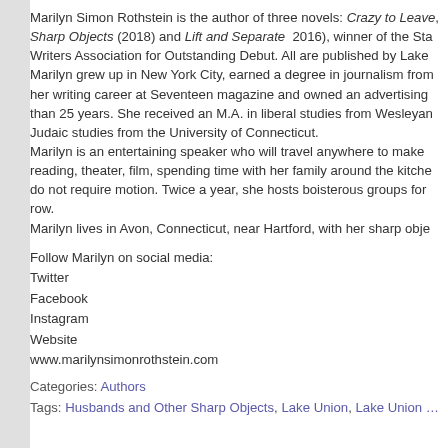Marilyn Simon Rothstein is the author of three novels: Crazy to Leave, Sharp Objects (2018) and Lift and Separate 2016), winner of the Sta… Writers Association for Outstanding Debut. All are published by Lake… Marilyn grew up in New York City, earned a degree in journalism fro… her writing career at Seventeen magazine and owned an advertising … than 25 years. She received an M.A. in liberal studies from Wesleya… Judaic studies from the University of Connecticut. Marilyn is an entertaining speaker who will travel anywhere to make … reading, theater, film, spending time with her family around the kitche… do not require motion. Twice a year, she hosts boisterous groups for … row. Marilyn lives in Avon, Connecticut, near Hartford, with her sharp obje…
Follow Marilyn on social media:
Twitter
Facebook
Instagram
Website
www.marilynsimonrothstein.com
Categories: Authors
Tags: Husbands and Other Sharp Objects, Lake Union, Lake Union …